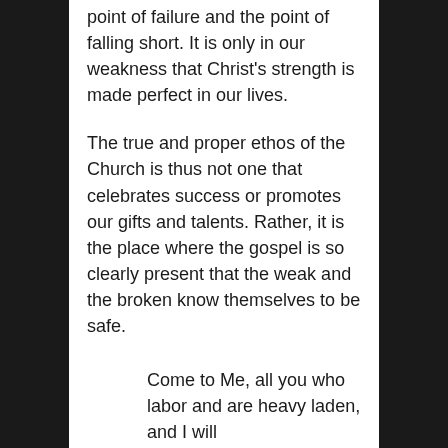point of failure and the point of falling short. It is only in our weakness that Christ's strength is made perfect in our lives.
The true and proper ethos of the Church is thus not one that celebrates success or promotes our gifts and talents. Rather, it is the place where the gospel is so clearly present that the weak and the broken know themselves to be safe.
Come to Me, all you who labor and are heavy laden, and I will